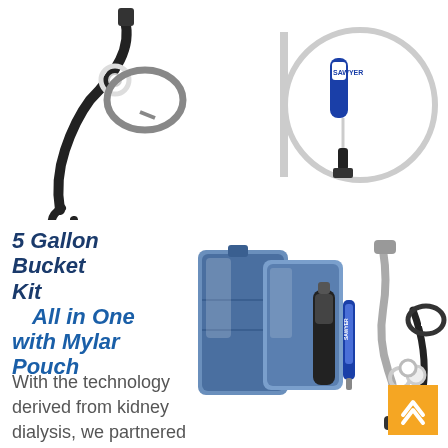[Figure (photo): Water filter kit components laid out on white background, including black hose/hook assembly on left and clear tubing with Sawyer filter and black cap on right]
5 Gallon Bucket Kit    All in One with Mylar Pouch
With the technology derived from kidney dialysis, we partnered
[Figure (photo): 5 Gallon Bucket Kit All in One with Mylar Pouch — product components including blue mylar pouch, water filter, syringe, and hose/coupling assembly]